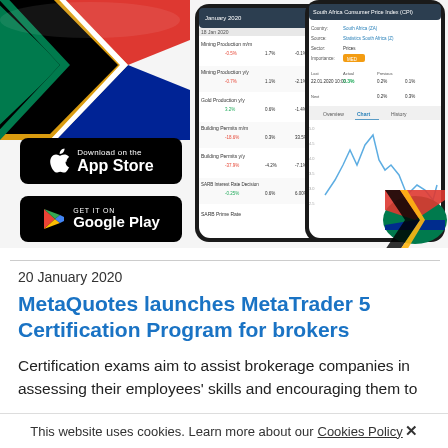[Figure (screenshot): Mobile app screenshots showing MetaTrader economic calendar with South Africa CPI data, with South African flag visible. Below are App Store and Google Play download buttons.]
20 January 2020
MetaQuotes launches MetaTrader 5 Certification Program for brokers
Certification exams aim to assist brokerage companies in assessing their employees' skills and encouraging them to
This website uses cookies. Learn more about our Cookies Policy ✕